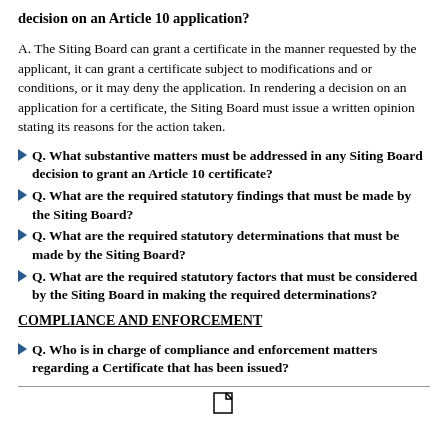decision on an Article 10 application?
A. The Siting Board can grant a certificate in the manner requested by the applicant, it can grant a certificate subject to modifications and or conditions, or it may deny the application. In rendering a decision on an application for a certificate, the Siting Board must issue a written opinion stating its reasons for the action taken.
Q. What substantive matters must be addressed in any Siting Board decision to grant an Article 10 certificate?
Q. What are the required statutory findings that must be made by the Siting Board?
Q. What are the required statutory determinations that must be made by the Siting Board?
Q. What are the required statutory factors that must be considered by the Siting Board in making the required determinations?
COMPLIANCE AND ENFORCEMENT
Q. Who is in charge of compliance and enforcement matters regarding a Certificate that has been issued?